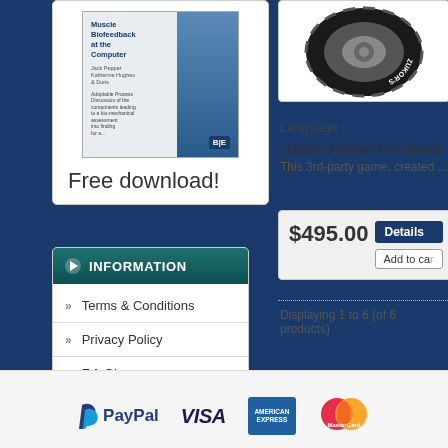[Figure (photo): Book cover: Muscle Biofeedback at the Computer, showing a man working at a computer, with BE badge]
Free download!
INFORMATION
Terms & Conditions
Privacy Policy
F.A.Q's
[Figure (photo): Zukor's tire product image (tire viewed from above, rotated)]
Language :
ZUKOR'S DRIVE FEEDBACK GA
This 3rd-party game, created ...
$495.00
Details
Add to car
Displaying 1 to 6 (of 6 products)
[Figure (logo): PayPal logo]
[Figure (logo): VISA logo]
[Figure (logo): American Express logo]
[Figure (logo): MasterCard logo]